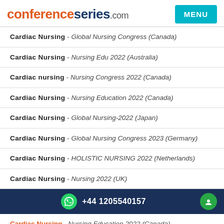conferenceseries.com | MENU
Cardiac Nursing - Global Nursing Congress (Canada)
Cardiac Nursing - Nursing Edu 2022 (Australia)
Cardiac nursing - Nursing Congress 2022 (Canada)
Cardiac Nursing - Nursing Education 2022 (Canada)
Cardiac Nursing - Global Nursing-2022 (Japan)
Cardiac Nursing - Global Nursing Congress 2023 (Germany)
Cardiac Nursing - HOLISTIC NURSING 2022 (Netherlands)
Cardiac Nursing - Nursing 2022 (UK)
+44 1205540157
Cardiac Nursing - Nursing Education 2022 (Canada)